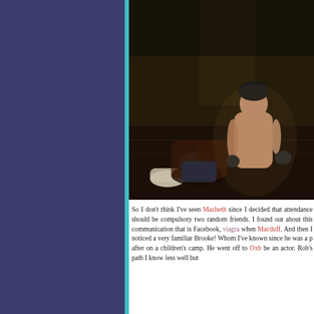[Figure (photo): Two performers on a dark stage floor, one shirtless wearing a black cap grappling with another performer, dramatic theatre lighting]
So I don't think I've seen Macbeth since I decided that attendance should be compulsory two random friends. I found out about this communication that is Facebook, viagra when Macduff. And then I noticed a very familiar Brooke! Whom I've known since he was a p after on a children's camp. He went off to Oxb be an actor. Rob's path I know less well but